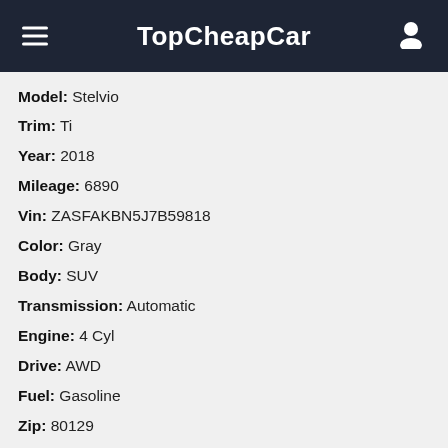TopCheapCar
Model: Stelvio
Trim: Ti
Year: 2018
Mileage: 6890
Vin: ZASFAKBN5J7B59818
Color: Gray
Body: SUV
Transmission: Automatic
Engine: 4 Cyl
Drive: AWD
Fuel: Gasoline
Zip: 80129
City: Highlands Ranch
State: CO
More details